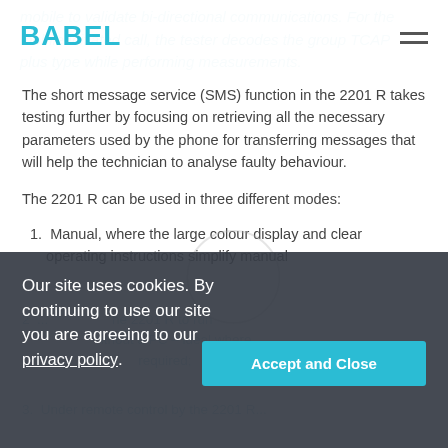BABEL
mobile to validate bi-directional communications. For the mobile initiated call, the tester decodes the group TCAP plus type while performing measurements.
The short message service (SMS) function in the 2201 R takes testing further by focusing on retrieving all the necessary parameters used by the phone for transferring messages that will help the technician to analyse faulty behaviour.
The 2201 R can be used in three different modes:
1. Manual, where the large colour display and clear operating instructions simplify manual operation.
2. ...the 2201 R to run ...without a PC – ideal where not required;
3. Under remote control by the 2201...
Our site uses cookies. By continuing to use our site you are agreeing to our privacy policy.